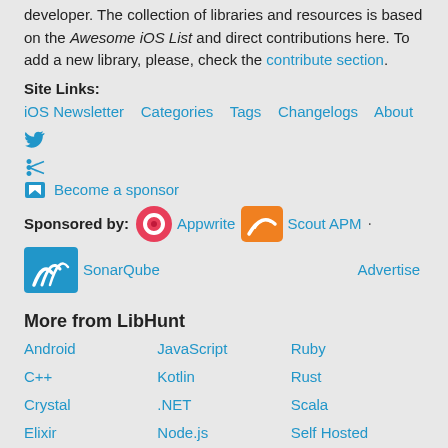developer. The collection of libraries and resources is based on the Awesome iOS List and direct contributions here. To add a new library, please, check the contribute section.
Site Links:
iOS Newsletter   Categories   Tags   Changelogs   About   [twitter]   [rss]
🏴 Become a sponsor
Sponsored by:  [Appwrite logo] Appwrite  [Scout APM logo] Scout APM  ·  [SonarQube logo] SonarQube    Advertise
More from LibHunt
Android  JavaScript  Ruby  C++  Kotlin  Rust  Crystal  .NET  Scala  Elixir  Node.js  Self Hosted